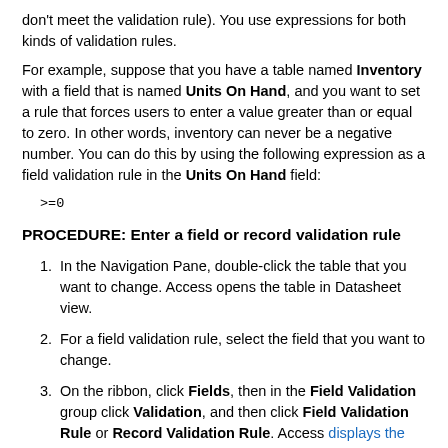don't meet the validation rule). You use expressions for both kinds of validation rules.
For example, suppose that you have a table named Inventory with a field that is named Units On Hand, and you want to set a rule that forces users to enter a value greater than or equal to zero. In other words, inventory can never be a negative number. You can do this by using the following expression as a field validation rule in the Units On Hand field:
PROCEDURE: Enter a field or record validation rule
In the Navigation Pane, double-click the table that you want to change. Access opens the table in Datasheet view.
For a field validation rule, select the field that you want to change.
On the ribbon, click Fields, then in the Field Validation group click Validation, and then click Field Validation Rule or Record Validation Rule. Access displays the Expression